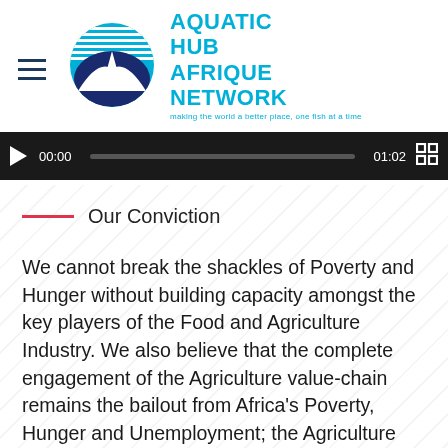[Figure (logo): Aquatic Hub Afrique Network logo with circular blue fish/wave emblem and cyan text]
[Figure (screenshot): Video player control bar showing play button, timestamp 00:00, progress bar, end time 01:02, and fullscreen icon]
Our Conviction
We cannot break the shackles of Poverty and Hunger without building capacity amongst the key players of the Food and Agriculture Industry. We also believe that the complete engagement of the Agriculture value-chain remains the bailout from Africa's Poverty, Hunger and Unemployment; the Agriculture Value-Chain is